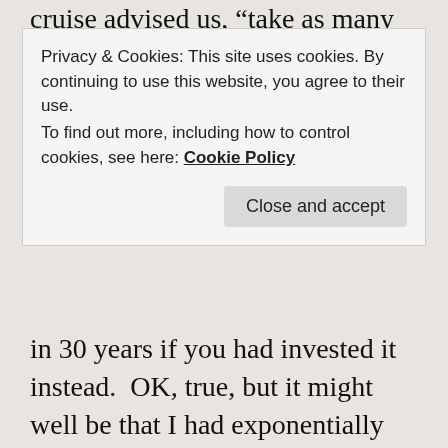cruise advised us, “take as many vacations as
Privacy & Cookies: This site uses cookies. By continuing to use this website, you agree to their use.
To find out more, including how to control cookies, see here: Cookie Policy
Close and accept
in 30 years if you had invested it instead.  OK, true, but it might well be that I had exponentially more fun on that $5000 trip now than I would have had on a $40,000 trip 30 years from now (not to mention the obvious fact that I might not even be alive 30 years from now!). There’s probably no reliable way to quantify the “youth-value” of taking adventures when relatively young (though it anyone could do it, I’d bet on you!), but it’s definitely something I tell my younger friends in the FIRE community: pursue FIRE by all means, and don’t spend money foolishly, but if you have the opportunity to go to Burning Man in your 20s, or do the Tour de Mont Blanc in